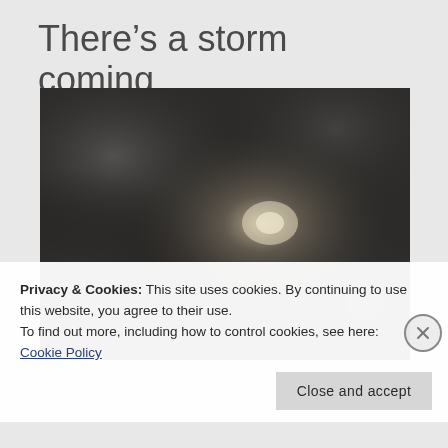There’s a storm coming
[Figure (photo): Dark stormy sky with heavy grey clouds and a faint bright spot where the sun is partially visible through the cloud cover]
Privacy & Cookies: This site uses cookies. By continuing to use this website, you agree to their use.
To find out more, including how to control cookies, see here:
Cookie Policy
Close and accept